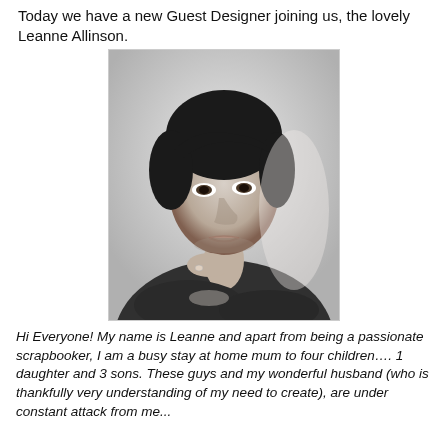Today we have a new Guest Designer joining us, the lovely Leanne Allinson.
[Figure (photo): Black and white portrait photo of Leanne Allinson, a woman with short dark hair, resting her chin on her hand, looking directly at the camera.]
Hi Everyone! My name is Leanne and apart from being a passionate scrapbooker, I am a busy stay at home mum to four children…. 1 daughter and 3 sons. These guys and my wonderful husband (who is thankfully very understanding of my need to create), are under constant attack from me...